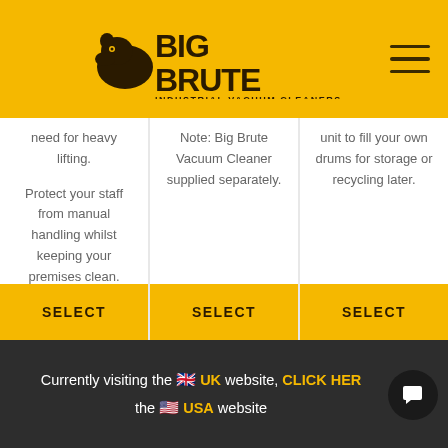[Figure (logo): Big Brute Industrial Vacuum Cleaners logo on yellow/gold header background with hamburger menu icon]
need for heavy lifting.

Protect your staff from manual handling whilst keeping your premises clean.
Note: Big Brute Vacuum Cleaner supplied separately.
unit to fill your own drums for storage or recycling later.
SELECT
SELECT
SELECT
Currently visiting the 🇬🇧 UK website, CLICK HERE to visit the 🇺🇸 USA website